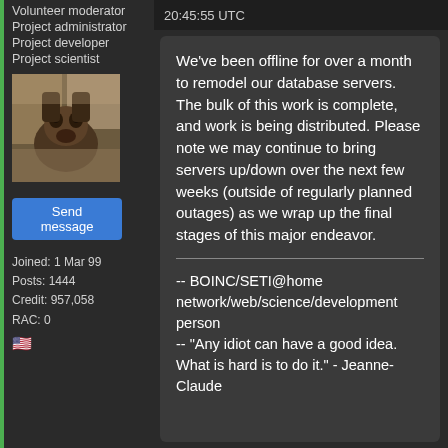20:45:55 UTC
Volunteer moderator
Project administrator
Project developer
Project scientist
[Figure (photo): Avatar photo of a dog (appears to be a Doberman) looking at the camera indoors.]
Send message
Joined: 1 Mar 99
Posts: 1444
Credit: 957,058
RAC: 0
We've been offline for over a month to remodel our database servers. The bulk of this work is complete, and work is being distributed. Please note we may continue to bring servers up/down over the next few weeks (outside of regularly planned outages) as we wrap up the final stages of this major endeavor.
-- BOINC/SETI@home network/web/science/development person
-- "Any idiot can have a good idea. What is hard is to do it." - Jeanne-Claude